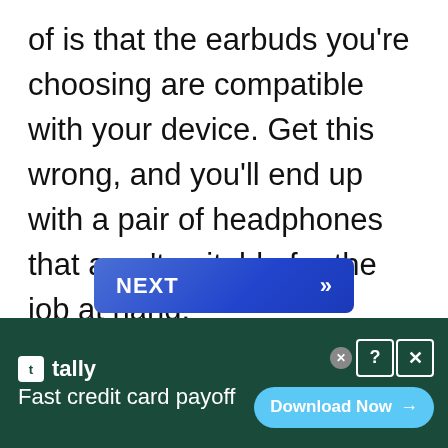of is that the earbuds you're choosing are compatible with your device. Get this wrong, and you'll end up with a pair of headphones that aren't suitable for the job at hand.
[Figure (other): A blue gradient button labeled NEXT with double chevron arrow, partially visible]
[Figure (other): Advertisement banner for Tally app: dark green background with Tally logo and tagline 'Fast credit card payoff', and a light blue 'Download Now' button with arrow. Includes close (x) and help (?) icons.]